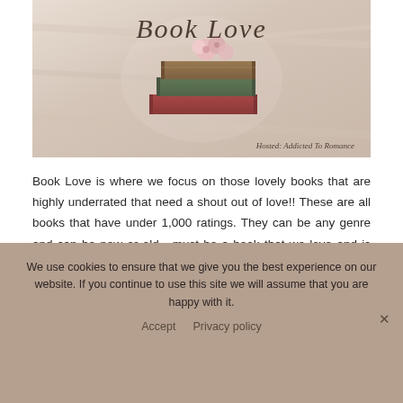[Figure (illustration): Book Love banner image with stacked vintage books and pink flowers on a bed, with cursive text 'Book Love' and tagline 'Hosted: Addicted To Romance']
Book Love is where we focus on those lovely books that are highly underrated that need a shout out of love!! These are all books that have under 1,000 ratings. They can be any genre and can be new or old....must be a book that we love and is highly overlooked and needs some LOVE!
We use cookies to ensure that we give you the best experience on our website. If you continue to use this site we will assume that you are happy with it.
Accept  Privacy policy